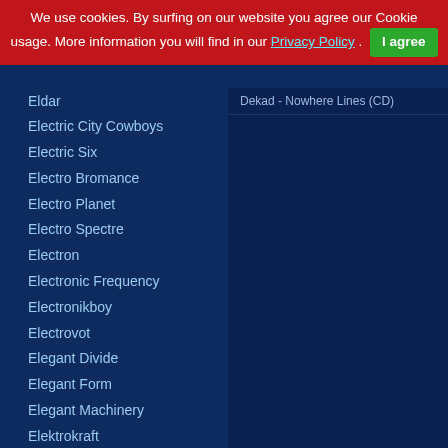We use cookies. By surfing on our website you agree our Cookie usage. More information you will find in our Privacy Policy . I agree
Dekad - Nowhere Lines (CD)
Eldar
Electric City Cowboys
Electric Six
Electro Bromance
Electro Planet
Electro Spectre
Electron
Electronic Frequency
Electronikboy
Electrovot
Elegant Divide
Elegant Form
Elegant Machinery
Elektrokraft
Elektrostaub
Eleven Pond
Elezoria
Elias Matt & (the) Rescue Mission
Ellipse
Elm
Elvis de Sade
ELZ and the CULT